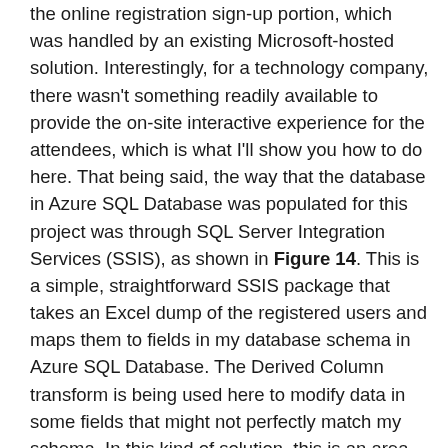the online registration sign-up portion, which was handled by an existing Microsoft-hosted solution. Interestingly, for a technology company, there wasn't something readily available to provide the on-site interactive experience for the attendees, which is what I'll show you how to do here. That being said, the way that the database in Azure SQL Database was populated for this project was through SQL Server Integration Services (SSIS), as shown in Figure 14. This is a simple, straightforward SSIS package that takes an Excel dump of the registered users and maps them to fields in my database schema in Azure SQL Database. The Derived Column transform is being used here to modify data in some fields that might not perfectly match my schema. In this kind of solution, this is an area that will probably need to be a bit more complex than what I'm showing you here. But what I want you to take away from this is that in a cloud-based solution such as this Azure event system, common tools such as SSIS work perfectly well, so you